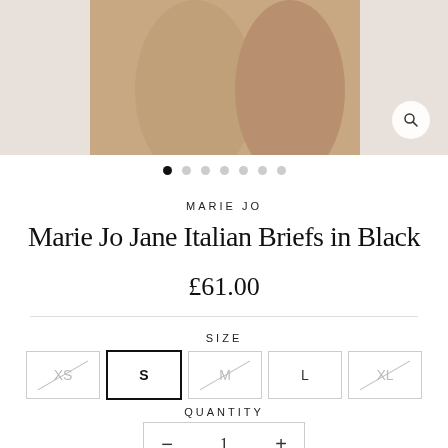[Figure (photo): Product photo showing model wearing Marie Jo Jane Italian Briefs in Black, cropped to show lower torso and upper thighs against a neutral backdrop. Zoom/magnify icon visible in bottom right of image frame.]
MARIE JO
Marie Jo Jane Italian Briefs in Black
£61.00
SIZE
XS  S  M  L  XL
QUANTITY
- 1 +